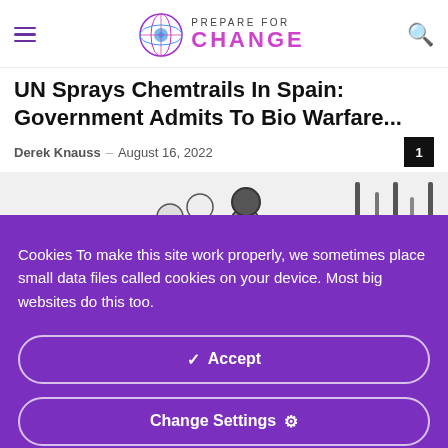Prepare For Change
UN Sprays Chemtrails In Spain: Government Admits To Bio Warfare...
Derek Knauss – August 16, 2022
[Figure (illustration): Black and white illustration showing figures, partially visible]
Cookies To make this site work properly, we sometimes place small data files called cookies on your device. Most big websites do this too.
✓ Accept
Change Settings ⚙